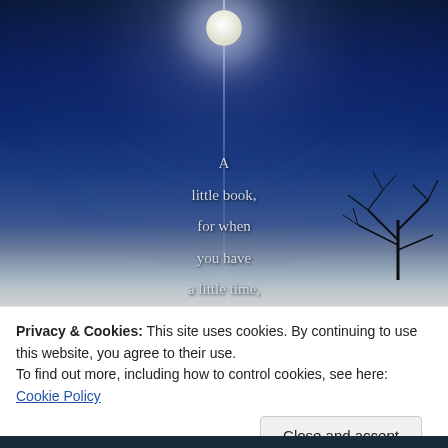[Figure (photo): Nighttime photo of a full moon over water with dark blue sky and silhouetted tree branches on the right. Overlaid poem text reads: A little book, for when you have a little time, with some little writings, which may produce some little thoughts.]
Privacy & Cookies: This site uses cookies. By continuing to use this website, you agree to their use.
To find out more, including how to control cookies, see here: Cookie Policy
Close and accept